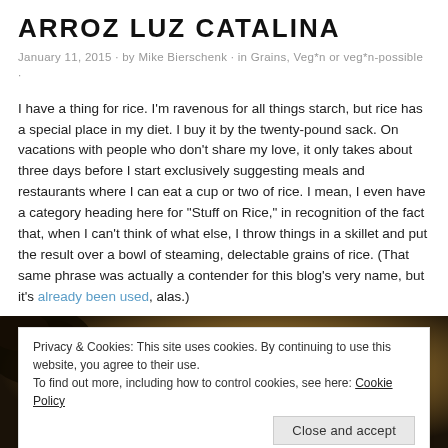ARROZ LUZ CATALINA
January 11, 2015 · by Mike Bierschenk · in Grains, Veg*n or veg*n-possible ·
I have a thing for rice. I'm ravenous for all things starch, but rice has a special place in my diet. I buy it by the twenty-pound sack. On vacations with people who don't share my love, it only takes about three days before I start exclusively suggesting meals and restaurants where I can eat a cup or two of rice. I mean, I even have a category heading here for "Stuff on Rice," in recognition of the fact that, when I can't think of what else, I throw things in a skillet and put the result over a bowl of steaming, delectable grains of rice. (That same phrase was actually a contender for this blog's very name, but it's already been used, alas.)
[Figure (photo): Close-up of toasted/cooked rice grains in a dark pan or skillet, golden brown color]
Privacy & Cookies: This site uses cookies. By continuing to use this website, you agree to their use.
To find out more, including how to control cookies, see here: Cookie Policy
Close and accept